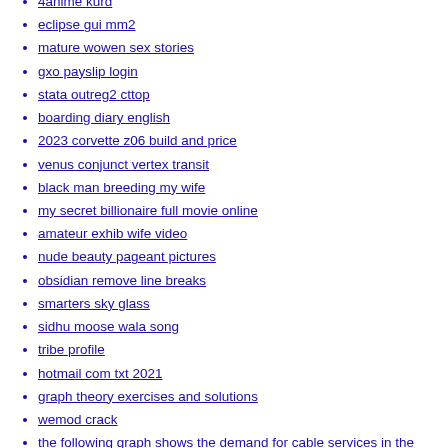4anime kurd
eclipse gui mm2
mature wowen sex stories
gxo payslip login
stata outreg2 cttop
boarding diary english
2023 corvette z06 build and price
venus conjunct vertex transit
black man breeding my wife
my secret billionaire full movie online
amateur exhib wife video
nude beauty pageant pictures
obsidian remove line breaks
smarters sky glass
sidhu moose wala song
tribe profile
hotmail com txt 2021
graph theory exercises and solutions
wemod crack
the following graph shows the demand for cable services in the imaginary town of utilityburg
68000 assembly language programming examples
friday night funkin week 7
make a bookmark
celonis exam answers